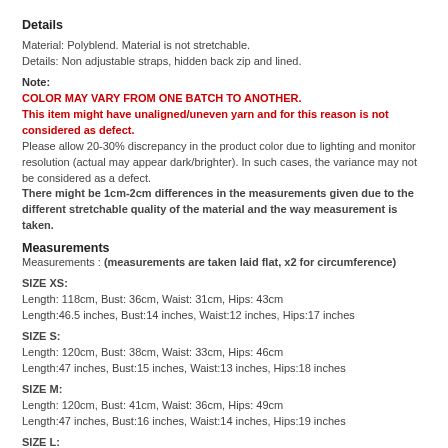Details
Material: Polyblend. Material is not stretchable.
Details: Non adjustable straps, hidden back zip and lined.
Note:
COLOR MAY VARY FROM ONE BATCH TO ANOTHER.
This item might have unaligned/uneven yarn and for this reason is not considered as defect.
Please allow 20-30% discrepancy in the product color due to lighting and monitor resolution (actual may appear dark/brighter). In such cases, the variance may not be considered as a defect.
There might be 1cm-2cm differences in the measurements given due to the different stretchable quality of the material and the way measurement is taken.
Measurements
Measurements : (measurements are taken laid flat, x2 for circumference)
SIZE XS:
Length: 118cm, Bust: 36cm, Waist: 31cm, Hips: 43cm
Length:46.5 inches, Bust:14 inches, Waist:12 inches, Hips:17 inches
SIZE S:
Length: 120cm, Bust: 38cm, Waist: 33cm, Hips: 46cm
Length:47 inches, Bust:15 inches, Waist:13 inches, Hips:18 inches
SIZE M:
Length: 120cm, Bust: 41cm, Waist: 36cm, Hips: 49cm
Length:47 inches, Bust:16 inches, Waist:14 inches, Hips:19 inches
SIZE L: